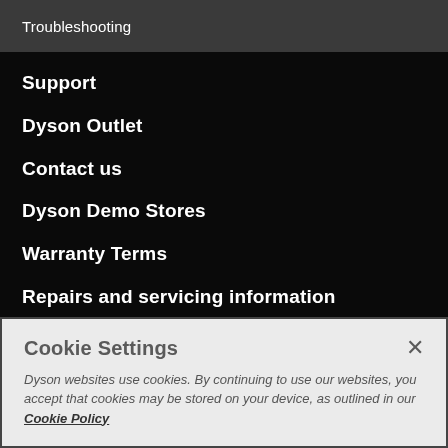Troubleshooting
Support
Dyson Outlet
Contact us
Dyson Demo Stores
Warranty Terms
Repairs and servicing information
Careers
Newsroom
Cookie Settings
Dyson websites use cookies. By continuing to use our websites, you accept that cookies may be stored on your device, as outlined in our Cookie Policy